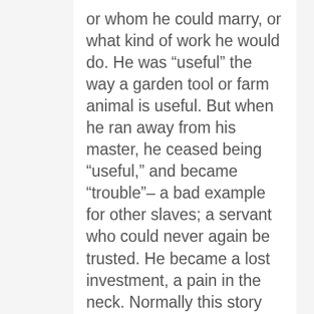or whom he could marry, or what kind of work he would do. He was “useful” the way a garden tool or farm animal is useful. But when he ran away from his master, he ceased being “useful,” and became “trouble”– a bad example for other slaves; a servant who could never again be trusted. He became a lost investment, a pain in the neck. Normally this story would end with an angry master who recaptured his slave and shackled him for the rest of his life, or a bitter master who resented the loss of his property.